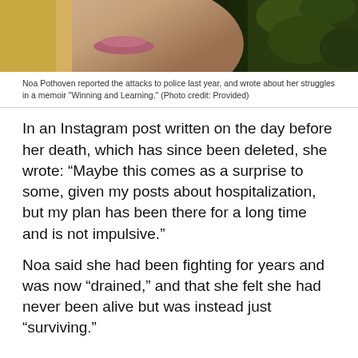[Figure (photo): Close-up photo of a young woman with blonde hair, showing her lower face and lips, with green foliage in the background]
Noa Pothoven reported the attacks to police last year, and wrote about her struggles in a memoir "Winning and Learning." (Photo credit: Provided)
In an Instagram post written on the day before her death, which has since been deleted, she wrote: “Maybe this comes as a surprise to some, given my posts about hospitalization, but my plan has been there for a long time and is not impulsive.”
Noa said she had been fighting for years and was now “drained,” and that she felt she had never been alive but was instead just “surviving.”